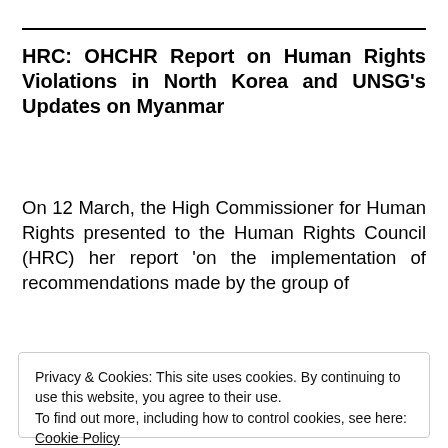HRC: OHCHR Report on Human Rights Violations in North Korea and UNSG's Updates on Myanmar
On 12 March, the High Commissioner for Human Rights presented to the Human Rights Council (HRC) her report 'on the implementation of recommendations made by the group of
Privacy & Cookies: This site uses cookies. By continuing to use this website, you agree to their use.
To find out more, including how to control cookies, see here: Cookie Policy
Close and accept